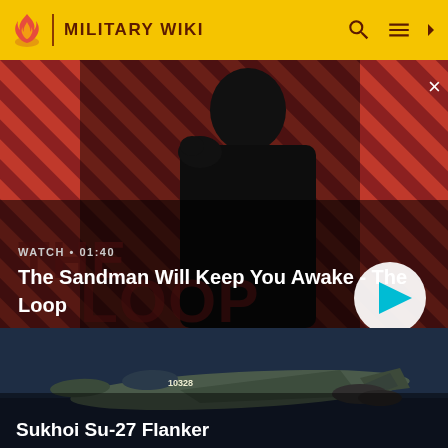MILITARY WIKI
[Figure (screenshot): Video card: The Sandman Will Keep You Awake - The Loop. Diagonal red/black striped background with a dark figure holding a raven. WATCH • 01:40 label, play button on right.]
The Sandman Will Keep You Awake - The Loop
[Figure (photo): Military jet fighter (Sukhoi Su-27 Flanker) photographed from the side on a dark background, number 10328 visible on fuselage.]
Sukhoi Su-27 Flanker